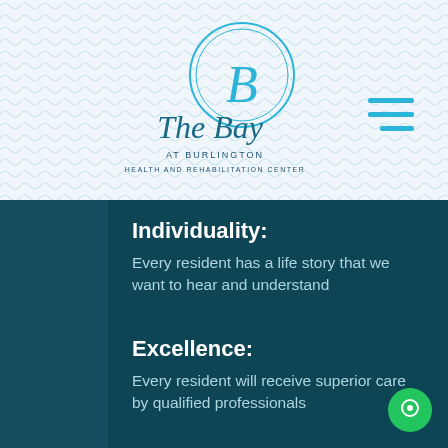[Figure (logo): The Bay at Burlington Health and Rehabilitation Center logo with circular B emblem and script/serif text]
Individuality:
Every resident has a life story that we want to hear and understand
Excellence:
Every resident will receive superior care by qualified professionals